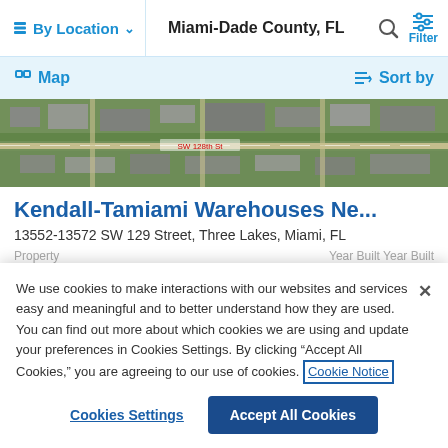By Location  Miami-Dade County, FL  Filter
Map  Sort by
[Figure (photo): Aerial satellite view of Kendall-Tamiami warehouse area with SW 128th St street label]
Kendall-Tamiami Warehouses Ne...
13552-13572 SW 129 Street, Three Lakes, Miami, FL
Property  Year Built Year Built
We use cookies to make interactions with our websites and services easy and meaningful and to better understand how they are used. You can find out more about which cookies we are using and update your preferences in Cookies Settings. By clicking "Accept All Cookies," you are agreeing to our use of cookies. Cookie Notice
Cookies Settings  Accept All Cookies